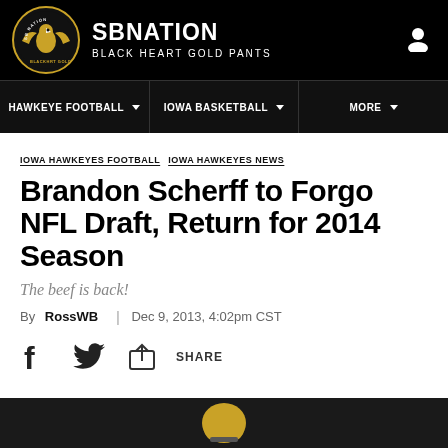SB NATION — BLACK HEART GOLD PANTS
Navigation: HAWKEYE FOOTBALL | IOWA BASKETBALL | MORE
IOWA HAWKEYES FOOTBALL  IOWA HAWKEYES NEWS
Brandon Scherff to Forgo NFL Draft, Return for 2014 Season
The beef is back!
By RossWB | Dec 9, 2013, 4:02pm CST
SHARE